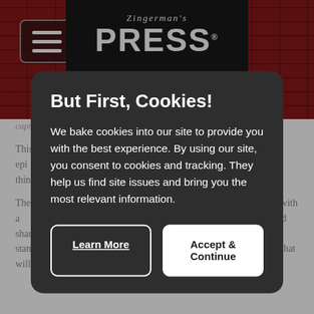[Figure (screenshot): Zingerman's Press website header with brick background and logo banner]
...capture of thinking what they be...
This is what...ores in this pamphlet. The booklet begins with an epi... The Power of B... Guide to Good... previously unp... thinking abou...
The approach... future of the b... New Mind, "Th... person with a... pattern recog... artists, invento... big picture thi... and share its g... able to come at their work and their lives from the standpoint of an artist—or poet, musician, sculptor, etc.—are those that will
But First, Cookies!
We bake cookies into our site to provide you with the best experience. By using our site, you consent to cookies and tracking. They help us find site issues and bring you the most relevant information.
Learn More
Accept & Continue